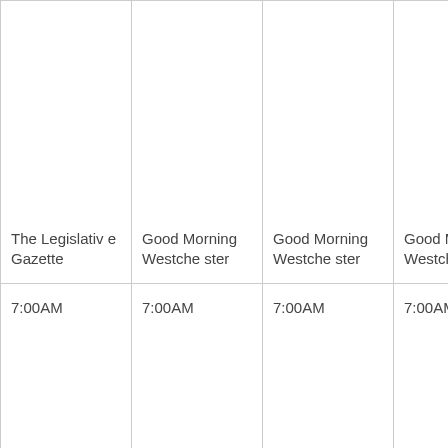| The Legislative Gazette | Good Morning Westchester | Good Morning Westchester | Good Morning Westchester | Good Morning Westchester | Good Morning Westchester |
| 7:00AM | 7:00AM | 7:00AM | 7:00AM | 7:00AM | 7:... |